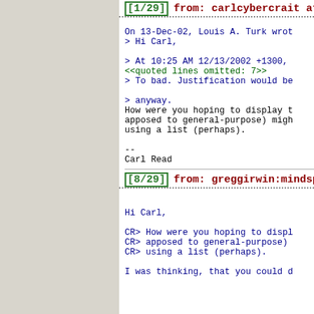[1/29] from: carlcybercrait at...
On 13-Dec-02, Louis A. Turk wrot
> Hi Carl,

> At 10:25 AM 12/13/2002 +1300,
<<quoted lines omitted: 7>>
> To bad. Justification would be

> anyway.
How were you hoping to display t
apposed to general-purpose) migh
using a list (perhaps).

--
Carl Read
[8/29] from: greggirwin:mindsp...
Hi Carl,

CR> How were you hoping to displ
CR> apposed to general-purpose)
CR> using a list (perhaps).

I was thinking, that you could d